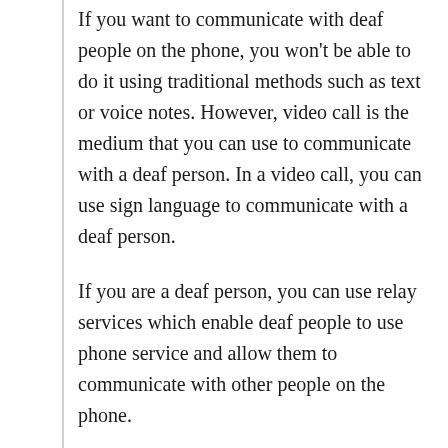If you want to communicate with deaf people on the phone, you won't be able to do it using traditional methods such as text or voice notes. However, video call is the medium that you can use to communicate with a deaf person. In a video call, you can use sign language to communicate with a deaf person.
If you are a deaf person, you can use relay services which enable deaf people to use phone service and allow them to communicate with other people on the phone.
Top Tips For Communicating With